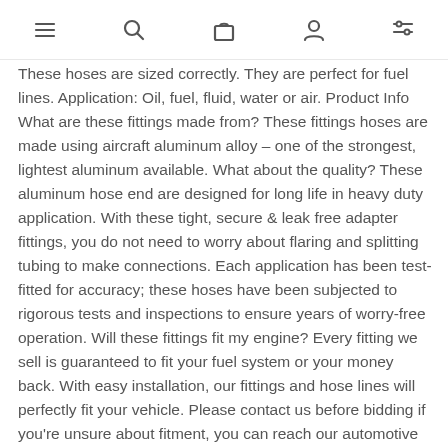[Navigation icons: menu, search, cart, account, filters]
These hoses are sized correctly. They are perfect for fuel lines. Application: Oil, fuel, fluid, water or air. Product Info What are these fittings made from? These fittings hoses are made using aircraft aluminum alloy – one of the strongest, lightest aluminum available. What about the quality? These aluminum hose end are designed for long life in heavy duty application. With these tight, secure & leak free adapter fittings, you do not need to worry about flaring and splitting tubing to make connections. Each application has been test-fitted for accuracy; these hoses have been subjected to rigorous tests and inspections to ensure years of worry-free operation. Will these fittings fit my engine? Every fitting we sell is guaranteed to fit your fuel system or your money back. With easy installation, our fittings and hose lines will perfectly fit your vehicle. Please contact us before bidding if you're unsure about fitment, you can reach our automotive professionals 7 days a week.